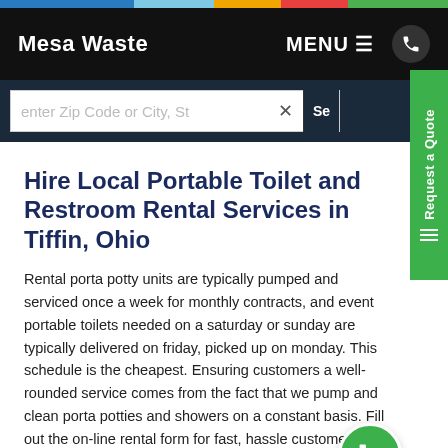Mesa Waste | MENU | Phone
enter Zip Code or City, St
Hire Local Portable Toilet and Restroom Rental Services in Tiffin, Ohio
Rental porta potty units are typically pumped and serviced once a week for monthly contracts, and event portable toilets needed on a saturday or sunday are typically delivered on friday, picked up on monday. This schedule is the cheapest. Ensuring customers a well-rounded service comes from the fact that we pump and clean porta potties and showers on a constant basis. Fill out the on-line rental form for fast, hassle customer service and price rate quotes via email. Click - Request Quotes - to rent portable restrooms, showers,